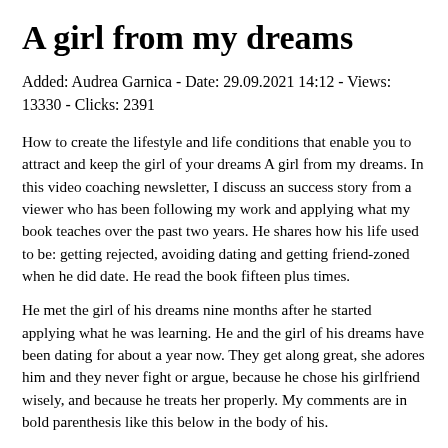A girl from my dreams
Added: Audrea Garnica - Date: 29.09.2021 14:12 - Views: 13330 - Clicks: 2391
How to create the lifestyle and life conditions that enable you to attract and keep the girl of your dreams A girl from my dreams. In this video coaching newsletter, I discuss an success story from a viewer who has been following my work and applying what my book teaches over the past two years. He shares how his life used to be: getting rejected, avoiding dating and getting friend-zoned when he did date. He read the book fifteen plus times.
He met the girl of his dreams nine months after he started applying what he was learning. He and the girl of his dreams have been dating for about a year now. They get along great, she adores him and they never fight or argue, because he chose his girlfriend wisely, and because he treats her properly. My comments are in bold parenthesis like this below in the body of his.
I just wanted to say thank you a million times over, because your work has definitely changed my life for the better. Why go to the gym? Why work out? Why continue to take care of your body?